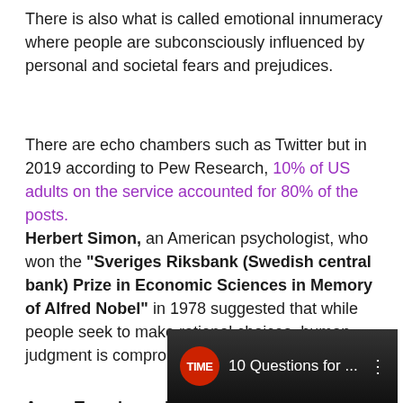There is also what is called emotional innumeracy where people are subconsciously influenced by personal and societal fears and prejudices.
There are echo chambers such as Twitter but in 2019 according to Pew Research, 10% of US adults on the service accounted for 80% of the posts.
Herbert Simon, an American psychologist, who won the "Sveriges Riksbank (Swedish central bank) Prize in Economic Sciences in Memory of Alfred Nobel" in 1978 suggested that while people seek to make rational choices, human judgment is compromised by cognitive biases.
Amos Tversky and Daniel Kahneman, Israeli psychologists, also in the 1970s published research on biases that influence how people think and the judgments people make. Kahneman won the Nobel in the Economic Sciences in 2002 for their work (Tversky died in 1996).
[Figure (screenshot): Video thumbnail showing TIME logo badge and text '10 Questions for ...' on dark background with three-dot menu]